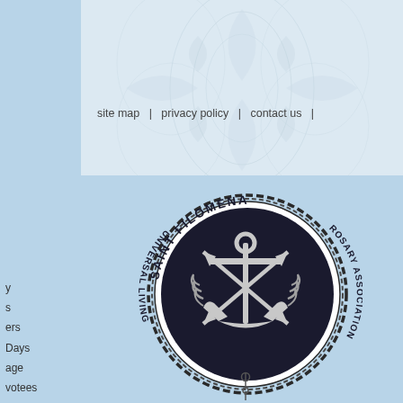[Figure (other): Decorative top banner with light blue/white floral damask pattern background]
site map  |  privacy policy  |  contact us  |
y
s
ers
Days
age
votees
nes & Schools
[Figure (logo): Saint Filomena Universal Living Rosary Association circular logo with anchor and crossed arrows, rope border, black and white]